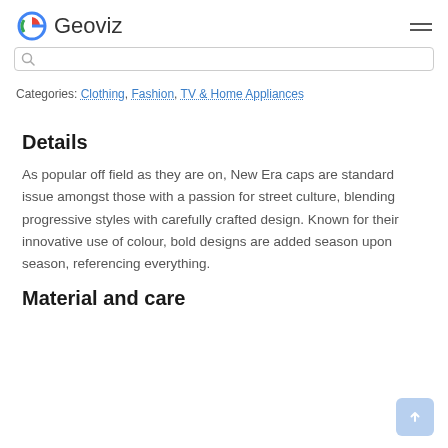Geoviz
Categories: Clothing, Fashion, TV & Home Appliances
Details
As popular off field as they are on, New Era caps are standard issue amongst those with a passion for street culture, blending progressive styles with carefully crafted design. Known for their innovative use of colour, bold designs are added season upon season, referencing everything.
Material and care